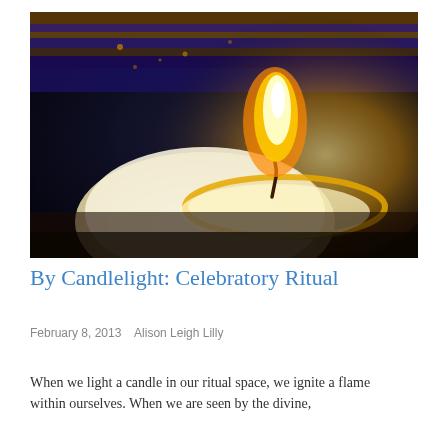[Figure (photo): Close-up photograph of a lit tealight candle with a bright white and orange flame against a dark blue background with golden reflections. The candle is cream/white colored with a blackened wick, surrounded by melted wax in a metallic holder.]
By Candlelight: Celebratory Ritual
February 8, 2013    Alison Leigh Lilly
When we light a candle in our ritual space, we ignite a flame within ourselves. When we are seen by the divine,